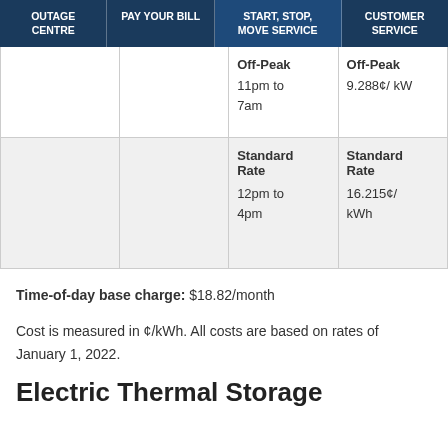OUTAGE CENTRE | PAY YOUR BILL | START, STOP, MOVE SERVICE | CUSTOMER SERVICE
|  |  | Time | Rate |
| --- | --- | --- | --- |
|  |  | Off-Peak
11pm to 7am | Off-Peak
9.288¢/ kW |
|  |  | Standard Rate
12pm to 4pm | Standard Rate
16.215¢/ kWh |
Time-of-day base charge: $18.82/month
Cost is measured in ¢/kWh. All costs are based on rates of January 1, 2022.
Electric Thermal Storage